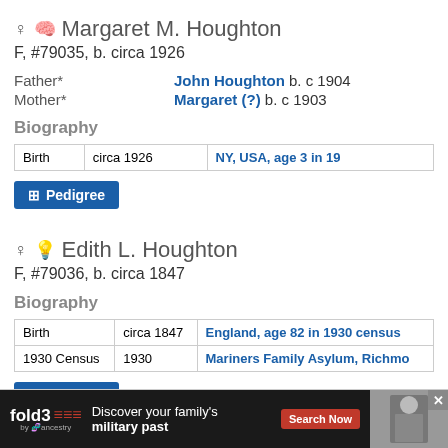♀ 🧠 Margaret M. Houghton
F, #79035, b. circa 1926
Father* John Houghton b. c 1904
Mother* Margaret (?) b. c 1903
Biography
| Birth | circa 1926 | NY, USA, age 3 in 19... |
| --- | --- | --- |
Pedigree
♀ 💭 Edith L. Houghton
F, #79036, b. circa 1847
Biography
| Birth | circa 1847 | England, age 82 in 1930 census |
| --- | --- | --- |
| 1930 Census | 1930 | Mariners Family Asylum, Richmo... |
Pedigree
[Figure (infographic): fold3 by Ancestry advertisement: Discover your family's military past. Search Now button. Soldier image on right.]